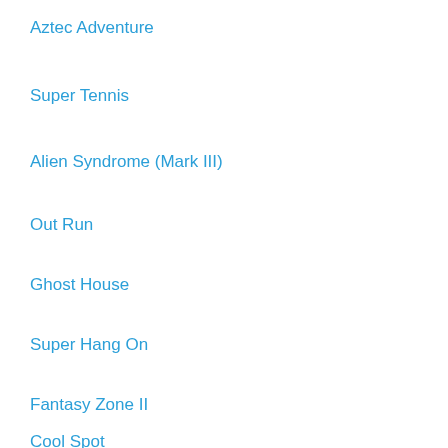Aztec Adventure
Super Tennis
Alien Syndrome (Mark III)
Out Run
Ghost House
Super Hang On
Fantasy Zone II
Cool Spot
Fantasy Zone
Zillion
Penguin Land
Super Hang on